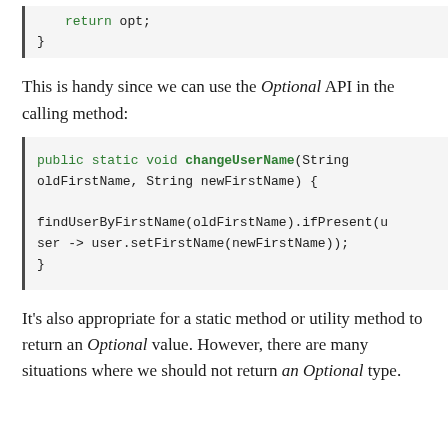[Figure (screenshot): Code snippet showing 'return opt;' and closing brace inside a left-bordered code block]
This is handy since we can use the Optional API in the calling method:
[Figure (screenshot): Java code block showing changeUserName method using findUserByFirstName().ifPresent(user -> user.setFirstName(newFirstName));]
It's also appropriate for a static method or utility method to return an Optional value. However, there are many situations where we should not return an Optional type.